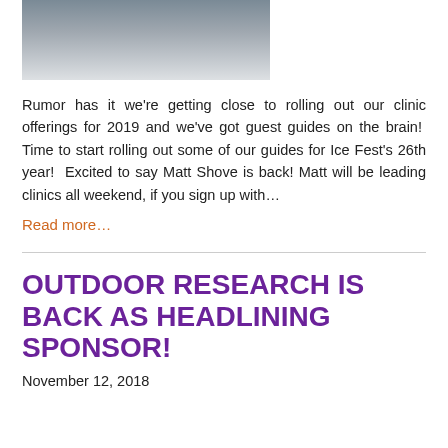[Figure (photo): Partial photo of a person in snowy/winter outdoor setting, cropped at top]
Rumor has it we're getting close to rolling out our clinic offerings for 2019 and we've got guest guides on the brain!  Time to start rolling out some of our guides for Ice Fest's 26th year!  Excited to say Matt Shove is back! Matt will be leading clinics all weekend, if you sign up with…
Read more…
OUTDOOR RESEARCH IS BACK AS HEADLINING SPONSOR!
November 12, 2018